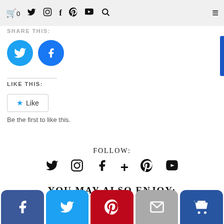🛒0  🐦  📷  f   Pinterest  ▶  🔍  ☰
SHARE THIS:
[Figure (illustration): Twitter and Facebook circular social share buttons in blue]
LIKE THIS:
★ Like
Be the first to like this.
FOLLOW:
[Figure (illustration): Row of social media icons: Twitter, Instagram, Facebook, Google+, Pinterest, YouTube]
YOU MAY ALSO ENJOY:
[Figure (illustration): Bottom share bar with Facebook, Twitter, Pinterest, Email, and crown icon buttons]